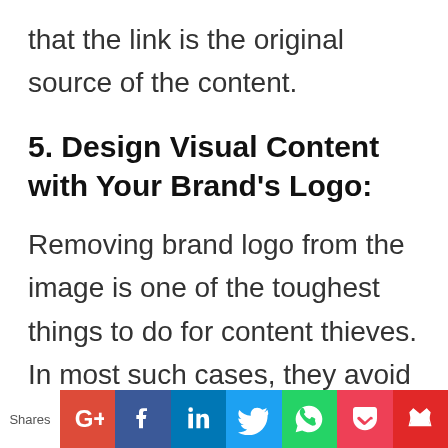that the link is the original source of the content.
5. Design Visual Content with Your Brand's Logo:
Removing brand logo from the image is one of the toughest things to do for content thieves. In most such cases, they avoid stealing such content.
Hence, you can always protect your
Shares [social share buttons: Google+, Facebook, LinkedIn, Twitter, WhatsApp, Pocket, Flipboard]